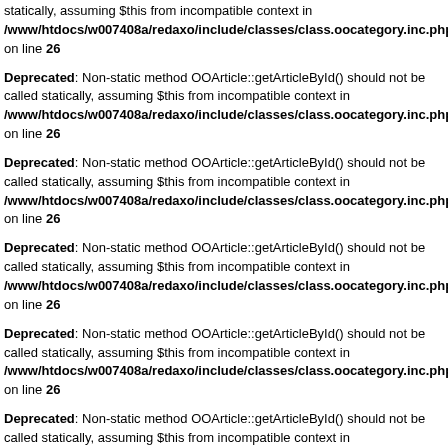statically, assuming $this from incompatible context in /www/htdocs/w007408a/redaxo/include/classes/class.oocategory.inc.php on line 26
Deprecated: Non-static method OOArticle::getArticleById() should not be called statically, assuming $this from incompatible context in /www/htdocs/w007408a/redaxo/include/classes/class.oocategory.inc.php on line 26
Deprecated: Non-static method OOArticle::getArticleById() should not be called statically, assuming $this from incompatible context in /www/htdocs/w007408a/redaxo/include/classes/class.oocategory.inc.php on line 26
Deprecated: Non-static method OOArticle::getArticleById() should not be called statically, assuming $this from incompatible context in /www/htdocs/w007408a/redaxo/include/classes/class.oocategory.inc.php on line 26
Deprecated: Non-static method OOArticle::getArticleById() should not be called statically, assuming $this from incompatible context in /www/htdocs/w007408a/redaxo/include/classes/class.oocategory.inc.php on line 26
Deprecated: Non-static method OOArticle::getArticleById() should not be called statically, assuming $this from incompatible context in /www/htdocs/w007408a/redaxo/include/classes/class.oocategory.inc.php on line 26
Deprecated: Non-static method OOArticle::getArticleById() should not be called statically, assuming $this from incompatible context in /www/htdocs/w007408a/redaxo/include/classes/class.oocategory.inc.php on line 26